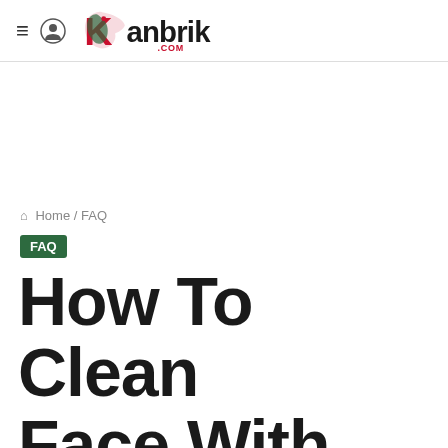Kanbrik.com
Home / FAQ
FAQ
How To Clean Face With Rose